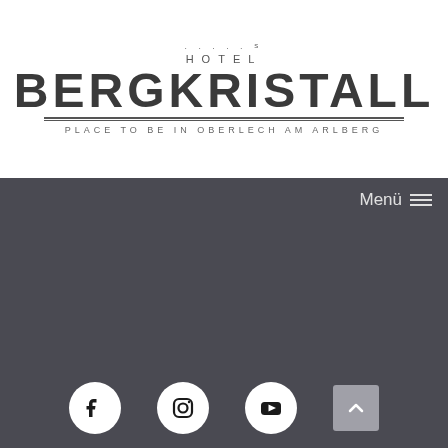[Figure (logo): Hotel Bergkristall logo with stars, hotel word, large BERGKRISTALL text, decorative double lines, and tagline PLACE TO BE IN OBERLECH AM ARLBERG]
Menü ☰
[Figure (infographic): Dark grey background section with social media icons at bottom: Facebook, Instagram, YouTube circle icons and a scroll-to-top arrow button]